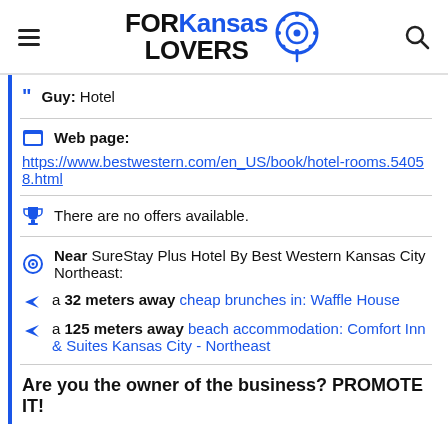FORKansas LOVERS
Guy: Hotel
Web page: https://www.bestwestern.com/en_US/book/hotel-rooms.54058.html
There are no offers available.
Near SureStay Plus Hotel By Best Western Kansas City Northeast:
a 32 meters away cheap brunches in: Waffle House
a 125 meters away beach accommodation: Comfort Inn & Suites Kansas City - Northeast
Are you the owner of the business? PROMOTE IT!